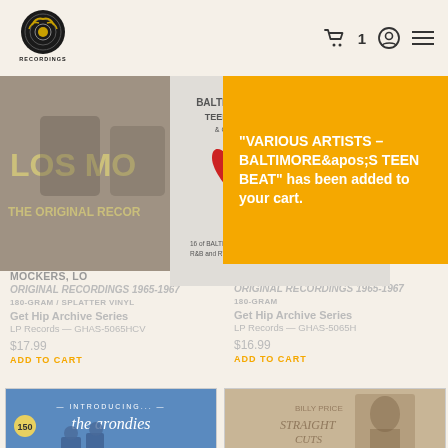[Figure (logo): Get Hip Recordings logo - circular black and white graphic]
[Figure (other): Navigation icons: cart with count 1, account icon, menu icon]
[Figure (photo): Los Mockers album cover - The Original Recordings, partial view]
[Figure (photo): Baltimore's Teen Beat album cover with red heart graphic]
“VARIOUS ARTISTS – BALTIMORE&apos;S TEEN BEAT” has been added to your cart.
MOCKERS, LO
ORIGINAL RECORDINGS 1965-1967
180-GRAM / SPLATTER VINYL
Get Hip Archive Series
LP Records — GHAS-5065HCV
$17.99
ADD TO CART
ORIGINAL RECORDINGS 1965-1967
180-GRAM
Get Hip Archive Series
LP Records — GHAS-5065H
$16.99
ADD TO CART
[Figure (photo): Arondies - Introducing... album cover, blue]
[Figure (photo): Another album cover, partial view]